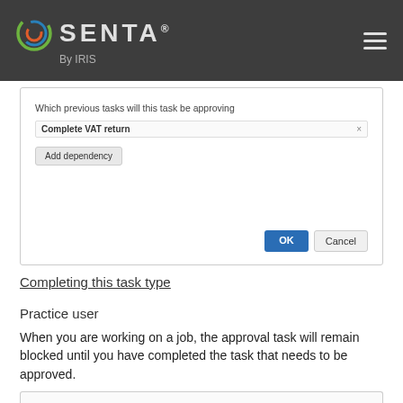SENTA® By IRIS
[Figure (screenshot): Dialog box showing 'Which previous tasks will this task be approving', with 'Complete VAT return' entry with an x button, an 'Add dependency' button, and OK/Cancel buttons at the bottom right.]
Completing this task type
Practice user
When you are working on a job, the approval task will remain blocked until you have completed the task that needs to be approved.